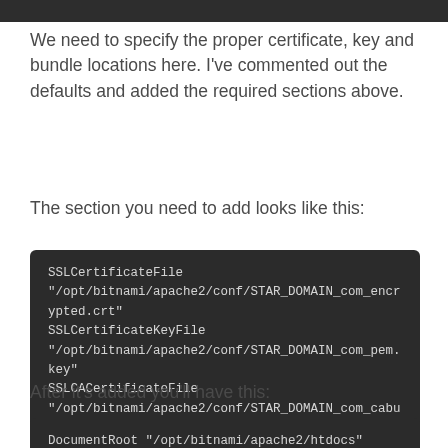[Figure (screenshot): Dark top bar / header area cropped at top of page]
We need to specify the proper certificate, key and bundle locations here. I've commented out the defaults and added the required sections above.
The section you need to add looks like this:
SSLCertificateFile "/opt/bitnami/apache2/conf/STAR_DOMAIN_com_encrypted.crt" SSLCertificateKeyFile "/opt/bitnami/apache2/conf/STAR_DOMAIN_com_pem.key" SSLCACertificateFile "/opt/bitnami/apache2/conf/STAR_DOMAIN_com_cabundle.pem"
After it's added you'll have this:
DocumentRoot "/opt/bitnami/apache2/htdocs"